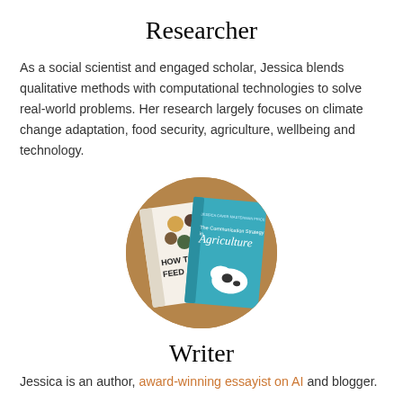Researcher
As a social scientist and engaged scholar, Jessica blends qualitative methods with computational technologies to solve real-world problems. Her research largely focuses on climate change adaptation, food security, agriculture, wellbeing and technology.
[Figure (photo): Circular photo of two books: 'How to Feed' with grain seeds on the cover, and 'The Communication Strategy in Agriculture' with a cow graphic, placed on a wooden surface.]
Writer
Jessica is an author, award-winning essayist on AI and blogger.